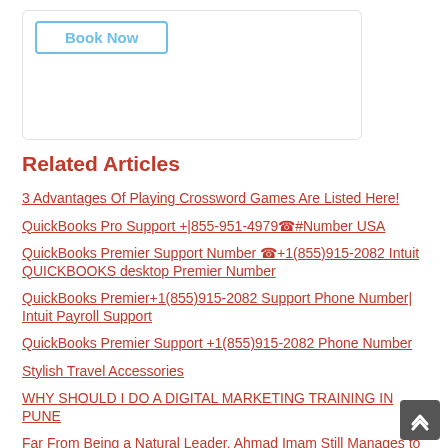[Figure (other): Book Now button inside a white rounded box]
Related Articles
3 Advantages Of Playing Crossword Games Are Listed Here!
QuickBooks Pro Support +|855-951-4979☎#Number USA
QuickBooks Premier Support Number ☎+1(855)915-2082 Intuit QUICKBOOKS desktop Premier Number
QuickBooks Premier+1(855)915-2082 Support Phone Number| Intuit Payroll Support
QuickBooks Premier Support +1(855)915-2082 Phone Number
Stylish Travel Accessories
WHY SHOULD I DO A DIGITAL MARKETING TRAINING IN PUNE
Far From Being a Natural Leader, Ahmad Imam Still Manages to Win the Leadership Excellence Award from The Royal Office UAE
Emotional Collapse: Can Someone Often Feel Like They Are In a Deep Hole If They Experienced Developmental Trauma?